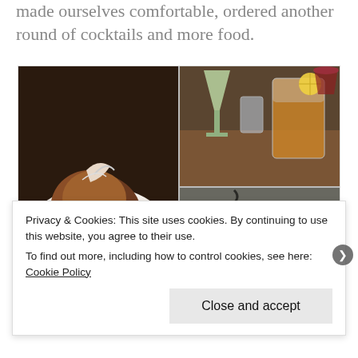made ourselves comfortable, ordered another round of cocktails and more food.
[Figure (photo): Collage of four food and drink photos: left panel shows fried food with white fish/garnish on a white plate with green leaf; top-right shows cocktails on a wooden table including a green martini, water glass, and an iced amber drink with lemon; bottom-right shows a platter of oysters on ice with lemon wedges and seaweed.]
Privacy & Cookies: This site uses cookies. By continuing to use this website, you agree to their use.
To find out more, including how to control cookies, see here: Cookie Policy
Close and accept